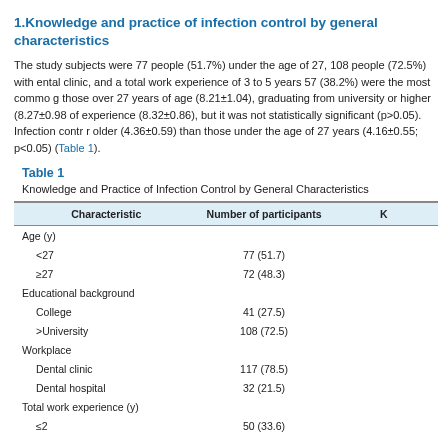1.Knowledge and practice of infection control by general characteristics
The study subjects were 77 people (51.7%) under the age of 27, 108 people (72.5%) with ental clinic, and a total work experience of 3 to 5 years 57 (38.2%) were the most commo g those over 27 years of age (8.21±1.04), graduating from university or higher (8.27±0.98 of experience (8.32±0.86), but it was not statistically significant (p>0.05). Infection contr r older (4.36±0.59) than those under the age of 27 years (4.16±0.55; p<0.05) (Table 1).
Table 1
Knowledge and Practice of Infection Control by General Characteristics
| Characteristic | Number of participants | K |
| --- | --- | --- |
| Age (y) |  |  |
| <27 | 77 (51.7) |  |
| ≥27 | 72 (48.3) |  |
| Educational background |  |  |
| College | 41 (27.5) |  |
| >University | 108 (72.5) |  |
| Workplace |  |  |
| Dental clinic | 117 (78.5) |  |
| Dental hospital | 32 (21.5) |  |
| Total work experience (y) |  |  |
| ≤2 | 50 (33.6) |  |